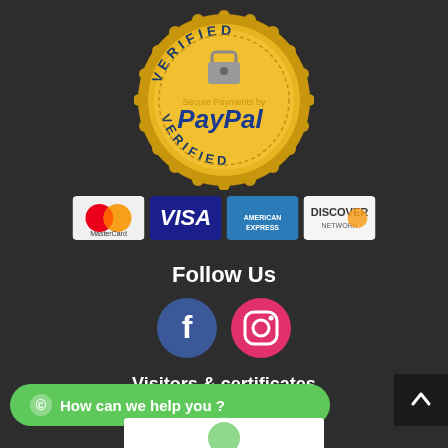[Figure (logo): PayPal Verified Secure Payments gold seal badge]
[Figure (logo): Payment method logos: MasterCard, VISA, American Express, Discover]
Follow Us
[Figure (logo): Facebook and Instagram social media icon buttons]
Visitors & certificates
Certificate of Excellence 2019
How can we help you ?